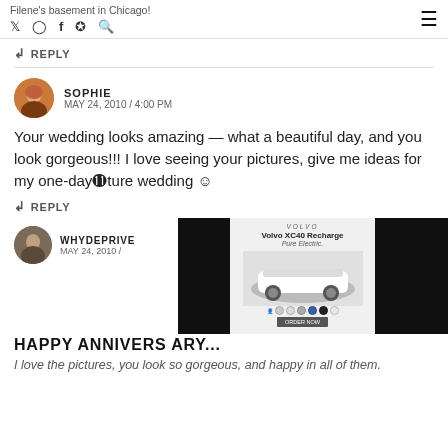Filene's basement in Chicago! [social icons] [hamburger menu]
↩ REPLY
SOPHIE
MAY 24, 2010 / 4:00 PM
Your wedding looks amazing — what a beautiful day, and you look gorgeous!!! I love seeing your pictures, give me ideas for my one-day future wedding 🙂
↩ REPLY
[Figure (photo): Advertisement for Volvo XC40 Recharge Pure Electric with black side panels]
WHYDEPRIVE
MAY 24, 2010 /
HAPPY ANNIVERSARY...
I love the pictures, you look so gorgeous, and happy in all of them.